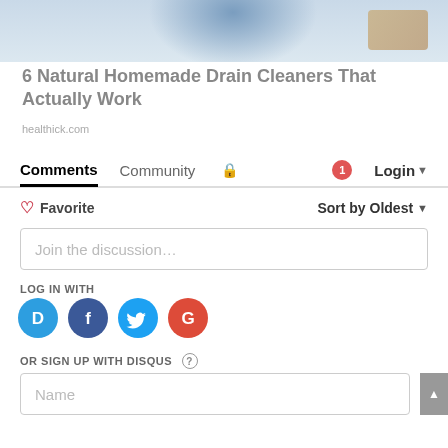[Figure (photo): Partial photo of a person in blue clothing near a bathroom sink/drain area with metal fixtures]
6 Natural Homemade Drain Cleaners That Actually Work
healthick.com
Comments   Community   🔒   1   Login ▾
♡ Favorite   Sort by Oldest ▾
Join the discussion...
LOG IN WITH
[Figure (logo): Social login icons: Disqus (D), Facebook (f), Twitter bird, Google (G)]
OR SIGN UP WITH DISQUS ?
Name